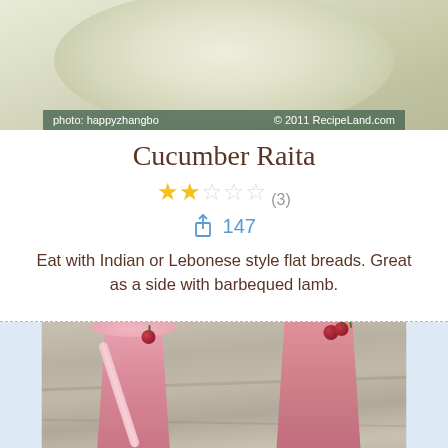[Figure (photo): Top portion of a bowl of Cucumber Raita dish, creamy with cucumber pieces, with photo credit overlay reading 'photo: happyzhangbo © 2011 RecipeLand.com']
Cucumber Raita
★★☆☆☆ (3)
↑ 147
Eat with Indian or Lebonese style flat breads. Great as a side with barbequed lamb.
[Figure (photo): Two tall pink/red smoothie glasses garnished with cherries on top, sitting on a wooden surface. One glass has a pink straw.]